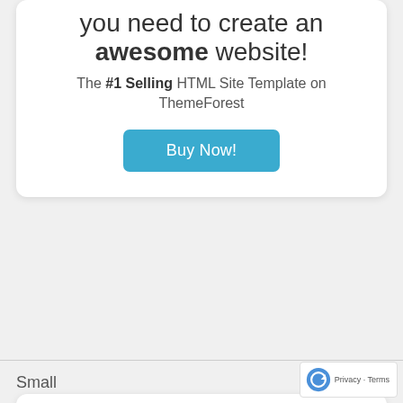you need to create an awesome website! The #1 Selling HTML Site Template on ThemeForest
[Figure (other): Buy Now button - blue rounded rectangle button with white text]
Small
Porto is everything you need to create an awesome website The #1 Selling HTML Site